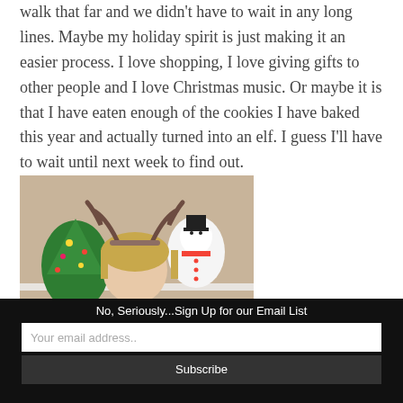walk that far and we didn't have to wait in any long lines. Maybe my holiday spirit is just making it an easier process. I love shopping, I love giving gifts to other people and I love Christmas music. Or maybe it is that I have eaten enough of the cookies I have baked this year and actually turned into an elf. I guess I'll have to wait until next week to find out.
[Figure (photo): A woman with blonde hair wearing reindeer antler headband, sitting in front of Christmas decorations including a stuffed Christmas tree and snowman. She is holding a red pillow with text 'falalala'. She is wearing a dark tank top.]
No, Seriously...Sign Up for our Email List
Your email address..
Subscribe